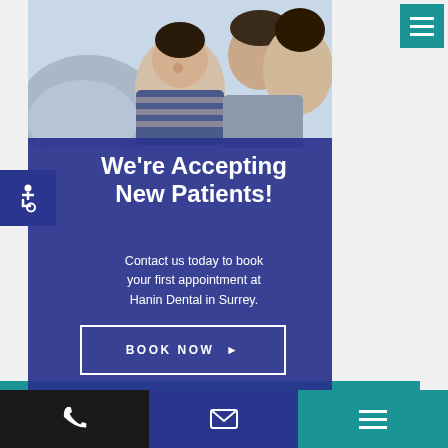[Figure (photo): Family photo showing a smiling child with parents]
We're Accepting New Patients!
Contact us today to book your first appointment at Hanin Dental in Surrey.
BOOK NOW ▶